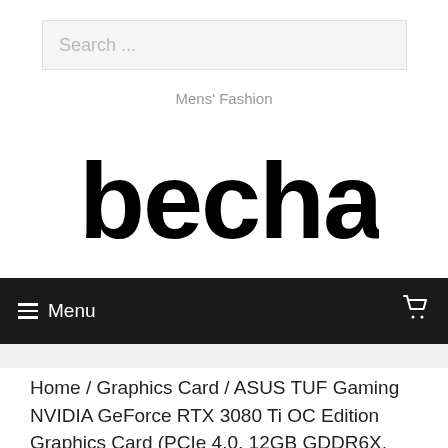[Figure (screenshot): Search bar input field with placeholder text 'Search ...' on a light gray background]
Mens' Fashion
[Figure (logo): bechad logo in bold black custom font]
☰ Menu  🛒
Home / Graphics Card / ASUS TUF Gaming NVIDIA GeForce RTX 3080 Ti OC Edition Graphics Card (PCIe 4.0, 12GB GDDR6X, HDMI 2.1, DisplayPort 1.4a, Dual Ball Fan Bearings, Military-